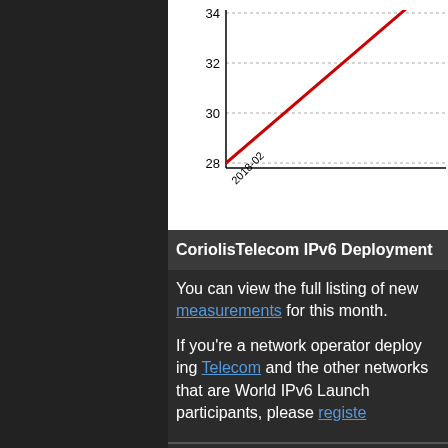[Figure (line-chart): CoriolisTelecom IPv6 Deployment]
CoriolisTelecom IPv6 Deployment
You can view the full listing of new measurements for this month.
If you're a network operator deploying Telecom and the other networks that are World IPv6 Launch participants, please register